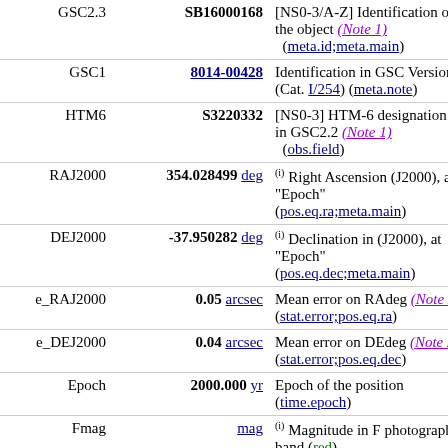| Name | Value | Description |
| --- | --- | --- |
| GSC2.3 | SB16000168 | [NS0-3/A-Z] Identification of the object (Note 1) (meta.id;meta.main) |
| GSC1 | 8014-00428 | Identification in GSC Version 1 (Cat. I/254) (meta.note) |
| HTM6 | S3220332 | [NS0-3] HTM-6 designation as in GSC2.2 (Note 1) (obs.field) |
| RAJ2000 | 354.028499 deg | (i) Right Ascension (J2000), at "Epoch" (pos.eq.ra;meta.main) |
| DEJ2000 | -37.950282 deg | (i) Declination in (J2000), at "Epoch" (pos.eq.dec;meta.main) |
| e_RAJ2000 | 0.05 arcsec | Mean error on RAdeg (Note 2) (stat.error;pos.eq.ra) |
| e_DEJ2000 | 0.04 arcsec | Mean error on DEdeg (Note 2) (stat.error;pos.eq.dec) |
| Epoch | 2000.000 yr | Epoch of the position (time.epoch) |
| Fmag | mag | (i) Magnitude in F photographic band (red) (phot.mag;em.opt.R) |